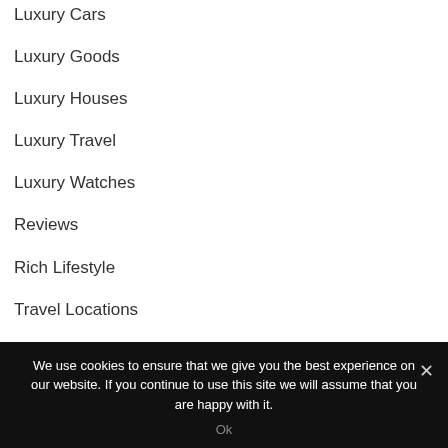Luxury Cars
Luxury Goods
Luxury Houses
Luxury Travel
Luxury Watches
Reviews
Rich Lifestyle
Travel Locations
Travelling Tips
What's New
We use cookies to ensure that we give you the best experience on our website. If you continue to use this site we will assume that you are happy with it.
Ok